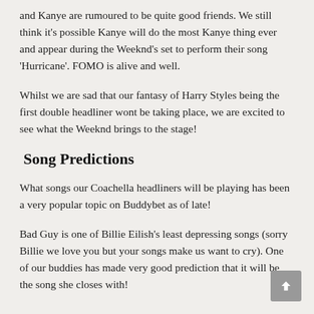and Kanye are rumoured to be quite good friends. We still think it's possible Kanye will do the most Kanye thing ever and appear during the Weeknd's set to perform their song 'Hurricane'. FOMO is alive and well.
Whilst we are sad that our fantasy of Harry Styles being the first double headliner wont be taking place, we are excited to see what the Weeknd brings to the stage!
Song Predictions
What songs our Coachella headliners will be playing has been a very popular topic on Buddybet as of late!
Bad Guy is one of Billie Eilish's least depressing songs (sorry Billie we love you but your songs make us want to cry). One of our buddies has made very good prediction that it will be the song she closes with!